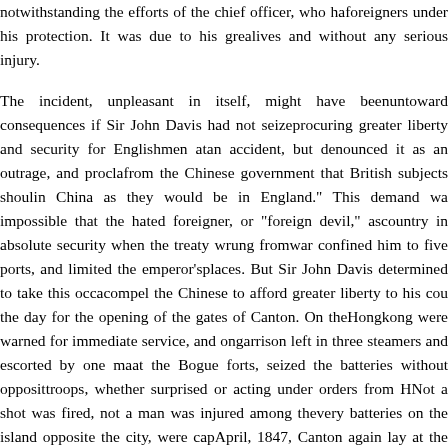notwithstanding the efforts of the chief officer, who ha... foreigners under his protection. It was due to his grea... lives and without any serious injury.

The incident, unpleasant in itself, might have been... untoward consequences if Sir John Davis had not seize... procuring greater liberty and security for Englishmen at... an accident, but denounced it as an outrage, and procla... from the Chinese government that British subjects shoul... in China as they would be in England." This demand wa... impossible that the hated foreigner, or "foreign devil," as... country in absolute security when the treaty wrung from... war confined him to five ports, and limited the emperor's... places. But Sir John Davis determined to take this occa... compel the Chinese to afford greater liberty to his cou... the day for the opening of the gates of Canton. On the... Hongkong were warned for immediate service, and on... garrison left in three steamers and escorted by one ma... at the Bogue forts, seized the batteries without opposit... troops, whether surprised or acting under orders from H... Not a shot was fired, not a man was injured among the... very batteries on the island opposite the city, were cap... April, 1847, Canton again lay at the mercy of an Englis... another notice, stating that "he felt that the moderation a...